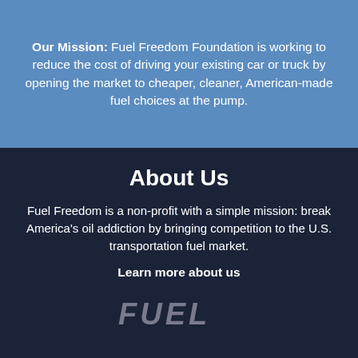Our Mission: Fuel Freedom Foundation is working to reduce the cost of driving your existing car or truck by opening the market to cheaper, cleaner, American-made fuel choices at the pump.
About Us
Fuel Freedom is a non-profit with a simple mission: break America's oil addiction by bringing competition to the U.S. transportation fuel market.
Learn more about us
[Figure (logo): Fuel Freedom Foundation logo — partial text 'FUEL' visible in bold italic gray letters]